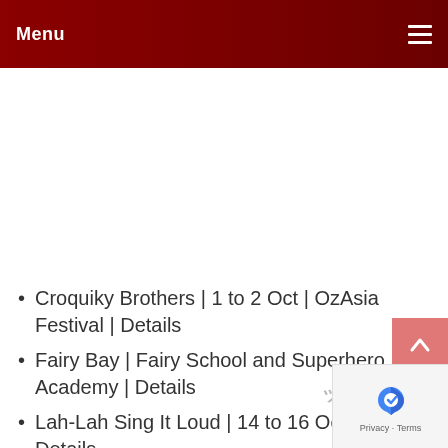Menu
Croquiky Brothers | 1 to 2 Oct | OzAsia Festival | Details
Fairy Bay | Fairy School and Superhero Academy | Details
Lah-Lah Sing It Loud | 14 to 16 October | Details